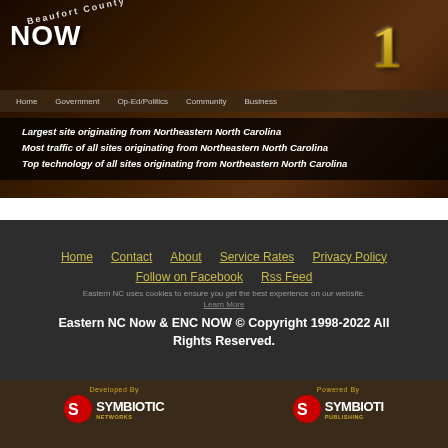[Figure (screenshot): Beaufort County NOW website banner with dark sunset harbor background, site logo, navigation bar, and three bold italic text claims about being the largest site, most traffic, and top technology originating from Northeastern North Carolina.]
Largest site originating from Northeastern North Carolina
Most traffic of all sites originating from Northeastern North Carolina
Top technology of all sites originating from Northeastern North Carolina
Home   Contact   About   Service Rates   Privacy Policy   Follow on Facebook   Rss Feed
Eastern NC Now & ENC NOW © Copyright 1998-2022 All Rights Reserved.
Eastern NC uses cookies to ensure you get the best experience on our website. Learn More
[Figure (logo): Developed By Symbiotic Networks logo with red circular icon and white SYMBIOTIC text]
[Figure (logo): Powered By Symbiotic Publishing logo with red circular icon and white SYMBIOTI text (partially cut off)]